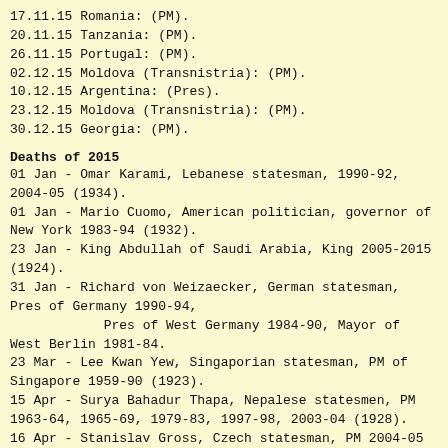17.11.15 Romania: (PM).
20.11.15 Tanzania: (PM).
26.11.15 Portugal: (PM).
02.12.15 Moldova (Transnistria): (PM).
10.12.15 Argentina: (Pres).
23.12.15 Moldova (Transnistria): (PM).
30.12.15 Georgia: (PM).
Deaths of 2015
01 Jan - Omar Karami, Lebanese statesman, 1990-92, 2004-05 (1934).
01 Jan - Mario Cuomo, American politician, governor of New York 1983-94 (1932).
23 Jan - King Abdullah of Saudi Arabia, King 2005-2015 (1924).
31 Jan - Richard von Weizaecker, German statesman, Pres of Germany 1990-94,
            Pres of West Germany 1984-90, Mayor of West Berlin 1981-84.
23 Mar - Lee Kwan Yew, Singaporian statesman, PM of Singapore 1959-90 (1923).
15 Apr - Surya Bahadur Thapa, Nepalese statesmen, PM 1963-64, 1965-69, 1979-83, 1997-98, 2003-04 (1928).
16 Apr - Stanislav Gross, Czech statesman, PM 2004-05 (1969).
09 May - Kenan Evren, Turkish general, Pres of Turkey 1980-89, (1917).
01 Jun - Charles Kennedy, British politician, Leader of the Liberal Democrats 1999-2006 (1959).
17 Jun - Roberto Marquez, Argentinian statesman...